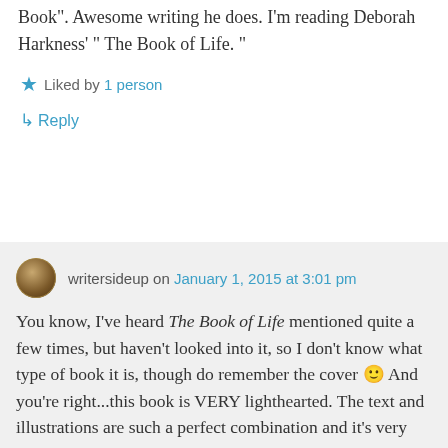Book". Awesome writing he does. I'm reading Deborah Harkness' " The Book of Life. "
★ Liked by 1 person
↳ Reply
writersideup on January 1, 2015 at 3:01 pm
You know, I've heard The Book of Life mentioned quite a few times, but haven't looked into it, so I don't know what type of book it is, though do remember the cover 🙂 And you're right...this book is VERY lighthearted. The text and illustrations are such a perfect combination and it's very easy to read—and quick! It's perfect for me